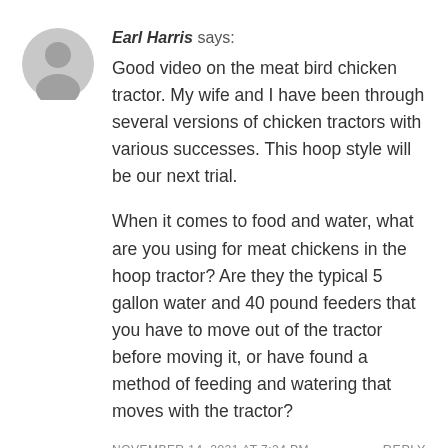[Figure (illustration): Gray circular avatar icon with silhouette of a person (head and shoulders), typical user comment avatar placeholder]
Earl Harris says: Good video on the meat bird chicken tractor. My wife and I have been through several versions of chicken tractors with various successes. This hoop style will be our next trial.

When it comes to food and water, what are you using for meat chickens in the hoop tractor? Are they the typical 5 gallon water and 40 pound feeders that you have to move out of the tractor before moving it, or have found a method of feeding and watering that moves with the tractor?
NOVEMBER 14, 2021 AT 7:24 PM   REPLY